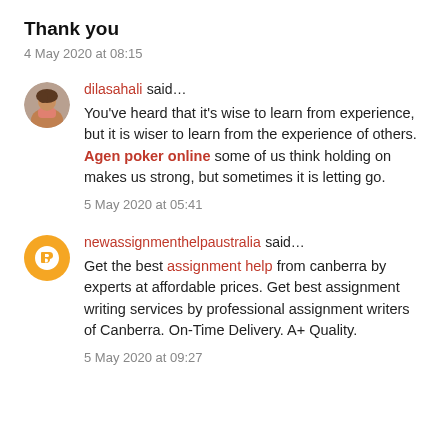Thank you
4 May 2020 at 08:15
dilasahali said…
You've heard that it's wise to learn from experience, but it is wiser to learn from the experience of others. Agen poker online some of us think holding on makes us strong, but sometimes it is letting go.
5 May 2020 at 05:41
newassignmenthelpaustralia said…
Get the best assignment help from canberra by experts at affordable prices. Get best assignment writing services by professional assignment writers of Canberra. On-Time Delivery. A+ Quality.
5 May 2020 at 09:27